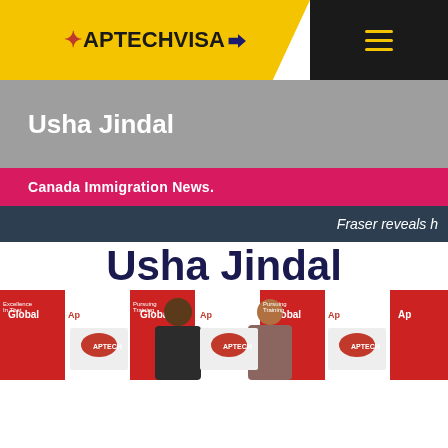[Figure (logo): AptechVisa logo with maple leaf and kangaroo icons on yellow header background]
Usha Jindal
Canada Immigration News.
Fraser reveals h
Usha Jindal
[Figure (photo): Two people standing in front of Aptech Global branded backdrop with red and white panels]